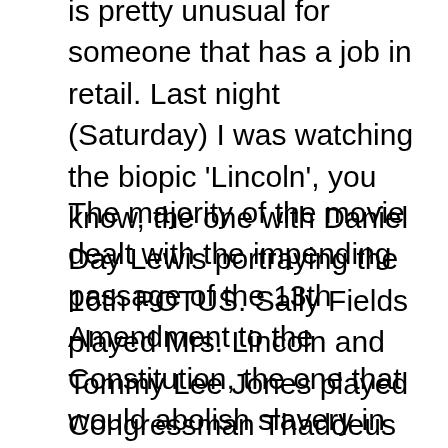is pretty unusual for someone that has a job in retail.  Last night (Saturday) I was watching the biopic 'Lincoln', you know, the one with Daniel Day Lewis portraying the 16th POTUS.  Sally Fields played Mrs. Lincoln and Tommy Lee Jones played Congressman Thaddeus Stevens from Pennsylvania.
The majority of the movie dealt with the impending passage of the 13th Amendment to the Constitution, the one that would abolish slavery in the United States and eventually any territories the country might possess in the future.  It went into a good amount of detail of the fight that occurred in the House of Representatives during the month of January of 1865, culminating in the vote of the 31st.  As with any sort of history movie, many things that might be considered important were still glossed over and history was changed a bit to make the movie run better.  That's to be expected.  Yes, Robert Lincoln was at Appomatox when Lee surrendered